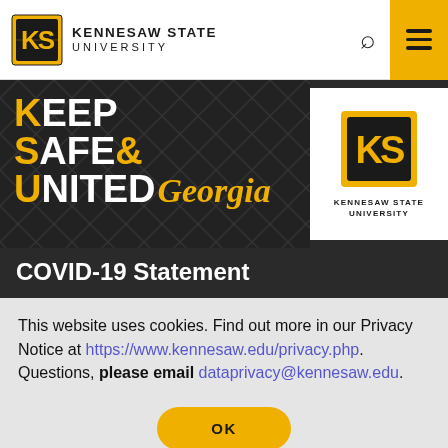KENNESAW STATE UNIVERSITY
[Figure (logo): Keep Safe & United Georgia banner with KSU logo]
COVID-19 Statement
This website uses cookies. Find out more in our Privacy Notice at https://www.kennesaw.edu/privacy.php. Questions, please email dataprivacy@kennesaw.edu.